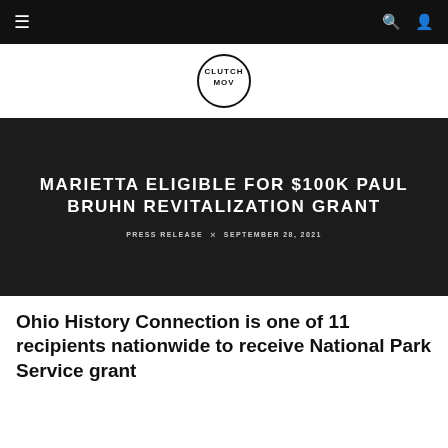Navigation bar with hamburger menu, search and user icons
[Figure (logo): Clutch MOV circular logo with text CLUTCH MOV in a circle outline]
MARIETTA ELIGIBLE FOR $100K PAUL BRUHN REVITALIZATION GRANT
PRESS RELEASE × SEPTEMBER 28, 2021
Ohio History Connection is one of 11 recipients nationwide to receive National Park Service grant